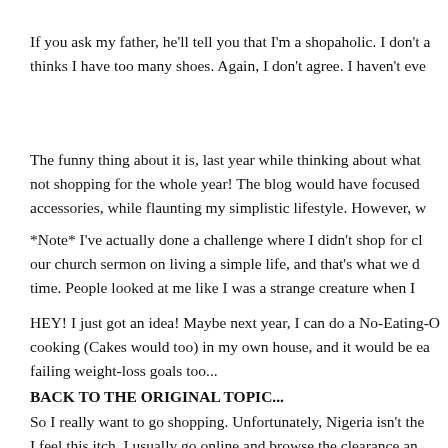If you ask my father, he'll tell you that I'm a shopaholic. I don't a thinks I have too many shoes. Again, I don't agree. I haven't eve
The funny thing about it is, last year while thinking about what not shopping for the whole year! The blog would have focused accessories, while flaunting my simplistic lifestyle. However, w
*Note* I've actually done a challenge where I didn't shop for cl our church sermon on living a simple life, and that's what we d time. People looked at me like I was a strange creature when I
HEY! I just got an idea! Maybe next year, I can do a No-Eating-O cooking (Cakes would too) in my own house, and it would be ea failing weight-loss goals too...
BACK TO THE ORIGINAL TOPIC...
So I really want to go shopping. Unfortunately, Nigeria isn't the I feel this itch, I usually go online and browse the clearance an shopping). More often than not, a mind-numbingly long th